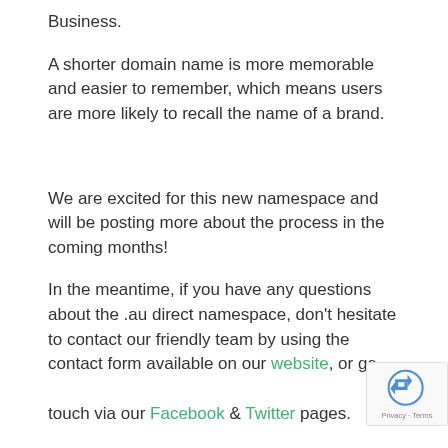Business.
A shorter domain name is more memorable and easier to remember, which means users are more likely to recall the name of a brand.
We are excited for this new namespace and will be posting more about the process in the coming months!
In the meantime, if you have any questions about the .au direct namespace, don't hesitate to contact our friendly team by using the contact form available on our website, or get in touch via our Facebook & Twitter pages.